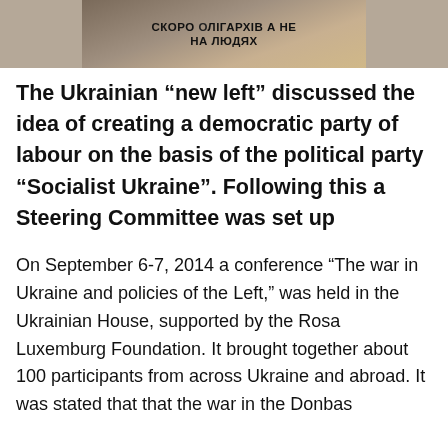[Figure (photo): Photograph of people holding a protest banner with Cyrillic text reading approximately 'СКОРО ОЛІГАРХІВ А НЕ ЛЮДЯХ']
The Ukrainian “new left” discussed the idea of creating a democratic party of labour on the basis of the political party “Socialist Ukraine”. Following this a Steering Committee was set up
On September 6-7, 2014 a conference “The war in Ukraine and policies of the Left,” was held in the Ukrainian House, supported by the Rosa Luxemburg Foundation. It brought together about 100 participants from across Ukraine and abroad. It was stated that that the war in the Donbas